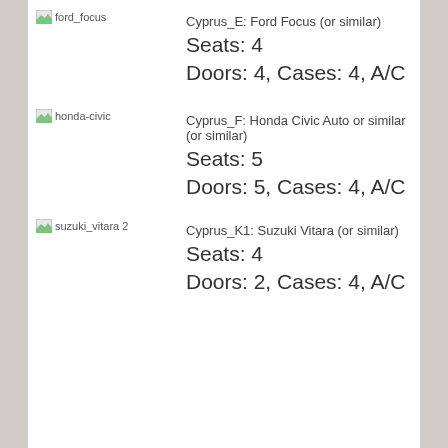[Figure (photo): Broken image placeholder for ford_focus]
Cyprus_E: Ford Focus (or similar)
Seats: 4
Doors: 4, Cases: 4, A/C
[Figure (photo): Broken image placeholder for honda-civic]
Cyprus_F: Honda Civic Auto or similar (or similar)
Seats: 5
Doors: 5, Cases: 4, A/C
[Figure (photo): Broken image placeholder for suzuki_vitara 2]
Cyprus_K1: Suzuki Vitara (or similar)
Seats: 4
Doors: 2, Cases: 4, A/C